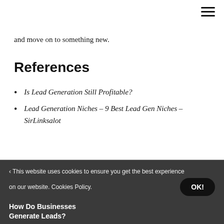and move on to something new.
References
Is Lead Generation Still Profitable?
Lead Generation Niches – 9 Best Lead Gen Niches – SirLinksalot
This website uses cookies to ensure you get the best experience on our website. Cookies Policy. OK! How Do Businesses Generate Leads?